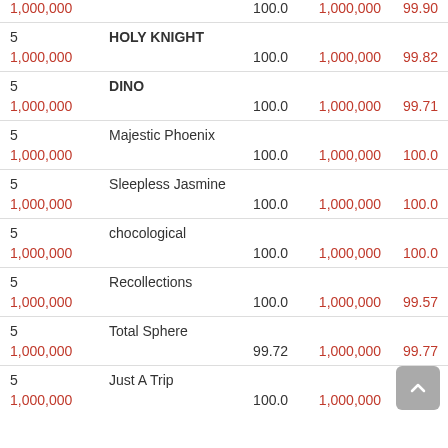| # | Name | Val1 | Val2 | Score |
| --- | --- | --- | --- | --- |
| 1,000,000 |  | 100.0 | 1,000,000 | 99.90 |
| 5 | HOLY KNIGHT |  |  |  |
| 1,000,000 |  | 100.0 | 1,000,000 | 99.82 |
| 5 | DINO |  |  |  |
| 1,000,000 |  | 100.0 | 1,000,000 | 99.71 |
| 5 | Majestic Phoenix |  |  |  |
| 1,000,000 |  | 100.0 | 1,000,000 | 100.0 |
| 5 | Sleepless Jasmine |  |  |  |
| 1,000,000 |  | 100.0 | 1,000,000 | 100.0 |
| 5 | chocological |  |  |  |
| 1,000,000 |  | 100.0 | 1,000,000 | 100.0 |
| 5 | Recollections |  |  |  |
| 1,000,000 |  | 100.0 | 1,000,000 | 99.57 |
| 5 | Total Sphere |  |  |  |
| 1,000,000 |  | 99.72 | 1,000,000 | 99.77 |
| 5 | Just A Trip |  |  |  |
| 1,000,000 |  | 100.0 | 1,000,000 | 100.0 |